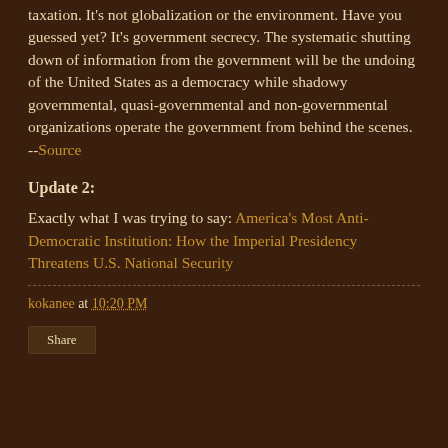taxation. It's not globalization or the environment. Have you guessed yet? It's government secrecy. The systematic shutting down of information from the government will be the undoing of the United States as a democracy while shadowy governmental, quasi-governmental and non-governmental organizations operate the government from behind the scenes. --Source
Update 2:
Exactly what I was trying to say: America's Most Anti-Democratic Institution: How the Imperial Presidency Threatens U.S. National Security
kokanee at 10:20 PM
Share